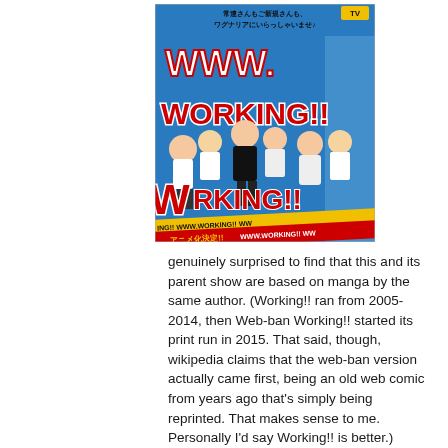[Figure (illustration): Anime promotional image for WWW.Working!! showing the title text in large red and white letters with anime characters (restaurant staff) jumping/posing on a blue background. Japanese text at top reads 常連さんもご新規さんも、ワグナリアにいらっしゃいませ♪. A yellow banner at the bottom reads アニメ化決定!! WWW.WORKING!!]
genuinely surprised to find that this and its parent show are based on manga by the same author. (Working!! ran from 2005-2014, then Web-ban Working!! started its print run in 2015. That said, though, wikipedia claims that the web-ban version actually came first, being an old web comic from years ago that's simply being reprinted. That makes sense to me. Personally I'd say Working!! is better.)